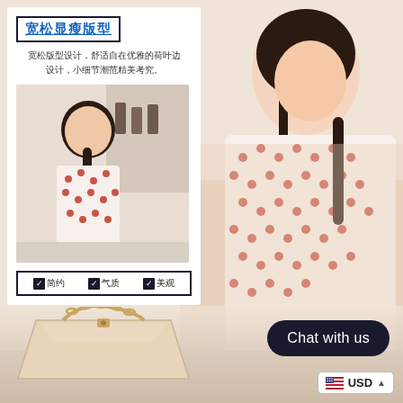[Figure (photo): Product detail page for a women's polka dot blouse. Main image shows a young Asian woman wearing a white blouse with red polka dots, V-neck, long sleeves. Left side shows an info card with Chinese text describing the loose fit design, a back-view photo of the same blouse, and feature badges. Bottom shows a beige clutch bag with chain handle. A dark oval 'Chat with us' button appears bottom right. USD currency selector bottom right.]
宽松显瘦版型
宽松版型设计，舒适自在优雅的荷叶边设计，小细节潮范精美考究。
☑ 简约  ☑ 气质  ☑ 美观
Chat with us
USD